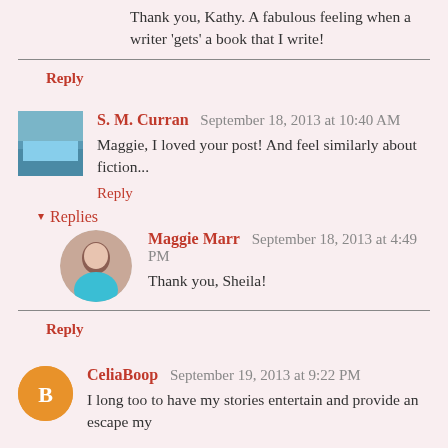Thank you, Kathy. A fabulous feeling when a writer 'gets' a book that I write!
Reply
S. M. Curran  September 18, 2013 at 10:40 AM
Maggie, I loved your post! And feel similarly about fiction...
Reply
Replies
Maggie Marr  September 18, 2013 at 4:49 PM
Thank you, Sheila!
Reply
CeliaBoop  September 19, 2013 at 9:22 PM
I long too to have my stories entertain and provide an escape my